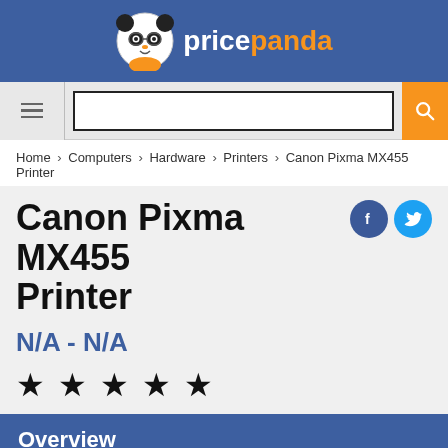pricepanda
Home › Computers › Hardware › Printers › Canon Pixma MX455 Printer
Canon Pixma MX455 Printer
N/A - N/A
★★★★★
Overview